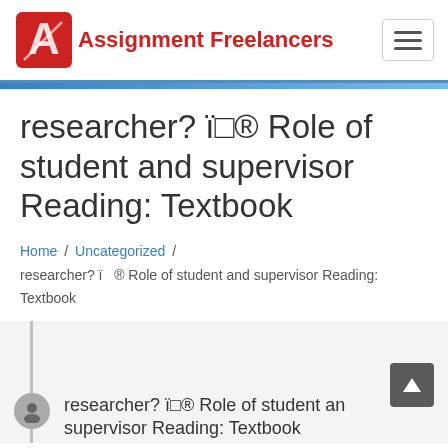[Figure (logo): Assignment Freelancers logo with red stylized A icon and red bold text]
researcher? ï® Role of student and supervisor Reading: Textbook
Home / Uncategorized / researcher? ï ® Role of student and supervisor Reading: Textbook
researcher? ï® Role of student and supervisor Reading: Textbook